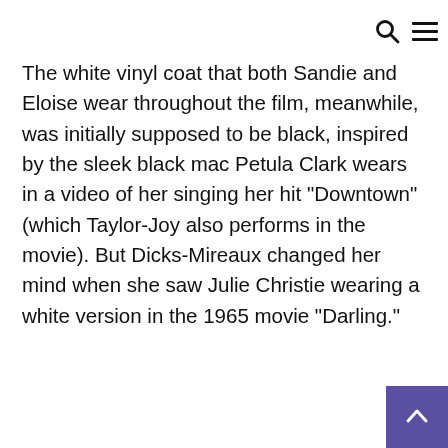[search icon] [menu icon]
The white vinyl coat that both Sandie and Eloise wear throughout the film, meanwhile, was initially supposed to be black, inspired by the sleek black mac Petula Clark wears in a video of her singing her hit “Downtown” (which Taylor-Joy also performs in the movie). But Dicks-Mireaux changed her mind when she saw Julie Christie wearing a white version in the 1965 movie “Darling.”